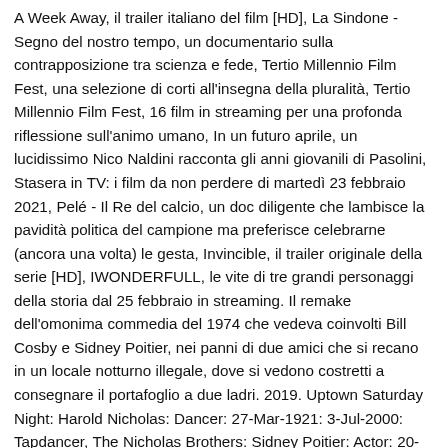A Week Away, il trailer italiano del film [HD], La Sindone - Segno del nostro tempo, un documentario sulla contrapposizione tra scienza e fede, Tertio Millennio Film Fest, una selezione di corti all'insegna della pluralità, Tertio Millennio Film Fest, 16 film in streaming per una profonda riflessione sull'animo umano, In un futuro aprile, un lucidissimo Nico Naldini racconta gli anni giovanili di Pasolini, Stasera in TV: i film da non perdere di martedì 23 febbraio 2021, Pelé - Il Re del calcio, un doc diligente che lambisce la pavidità politica del campione ma preferisce celebrarne (ancora una volta) le gesta, Invincible, il trailer originale della serie [HD], IWONDERFULL, le vite di tre grandi personaggi della storia dal 25 febbraio in streaming. Il remake dell'omonima commedia del 1974 che vedeva coinvolti Bill Cosby e Sidney Poitier, nei panni di due amici che si recano in un locale notturno illegale, dove si vedono costretti a consegnare il portafoglio a due ladri. 2019. Uptown Saturday Night: Harold Nicholas: Dancer: 27-Mar-1921: 3-Jul-2000: Tapdancer, The Nicholas Brothers: Sidney Poitier: Actor: 20-Feb-1927 : In The Heat Of The Night: Richard Pryor: Comic: 1-Dec-1940: 10-Dec-2005: Stand-up